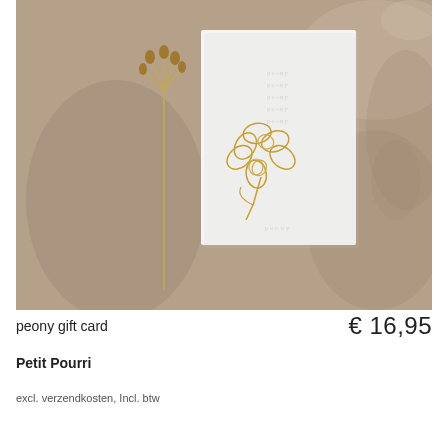[Figure (photo): Product photo of a peony gift card from Petit Pourri placed on a brown/taupe background alongside a dried flower stem and a blurred hand holding botanical branches in the background. The card is white with embossed text and a gold foil peony illustration.]
peony gift card
€ 16,95
Petit Pourri
excl. verzendkosten, Incl. btw